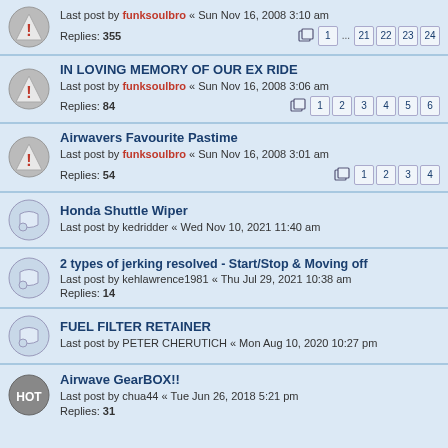Last post by funksoulbro « Sun Nov 16, 2008 3:10 am
Replies: 355  Pages: 1 ... 21 22 23 24
IN LOVING MEMORY OF OUR EX RIDE
Last post by funksoulbro « Sun Nov 16, 2008 3:06 am
Replies: 84  Pages: 1 2 3 4 5 6
Airwavers Favourite Pastime
Last post by funksoulbro « Sun Nov 16, 2008 3:01 am
Replies: 54  Pages: 1 2 3 4
Honda Shuttle Wiper
Last post by kedridder « Wed Nov 10, 2021 11:40 am
2 types of jerking resolved - Start/Stop & Moving off
Last post by kehlawrence1981 « Thu Jul 29, 2021 10:38 am
Replies: 14
FUEL FILTER RETAINER
Last post by PETER CHERUTICH « Mon Aug 10, 2020 10:27 pm
Airwave GearBOX!!
Last post by chua44 « Tue Jun 26, 2018 5:21 pm
Replies: 31